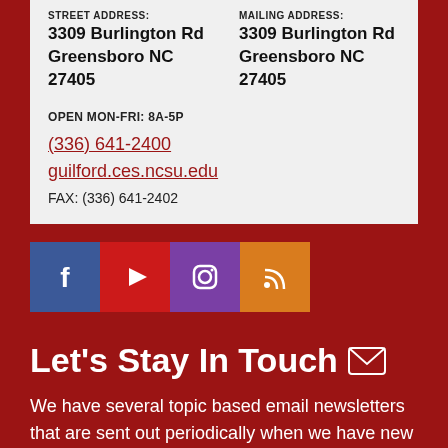STREET ADDRESS: 3309 Burlington Rd Greensboro NC 27405
MAILING ADDRESS: 3309 Burlington Rd Greensboro NC 27405
OPEN MON-FRI: 8A-5P
(336) 641-2400
guilford.ces.ncsu.edu
FAX: (336) 641-2402
[Figure (infographic): Social media icons row: Facebook (blue), YouTube (red), Instagram (purple), RSS (orange)]
Let's Stay In Touch
We have several topic based email newsletters that are sent out periodically when we have new information to share. Want to see which lists are available?